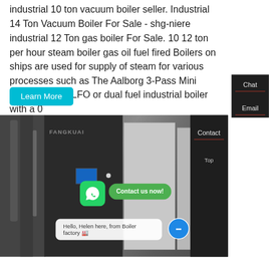industrial 10 ton vacuum boiler seller. Industrial 14 Ton Vacuum Boiler For Sale - shg-niere industrial 12 Ton gas boiler For Sale. 10 12 ton per hour steam boiler gas oil fuel fired Boilers on ships are used for supply of steam for various processes such as The Aalborg 3-Pass Mini boiler is a gas LFO or dual fuel industrial boiler with a 0
[Figure (screenshot): Industrial boiler equipment photo (grayscale) showing large industrial boiler units with piping; overlaid with WhatsApp contact button, 'Contact us now!' green button, a chat bubble saying 'Hello, Helen here, from Boiler factory 🏭', and a messenger icon. Side panel with Chat, Email, Contact, Top navigation items on dark background.]